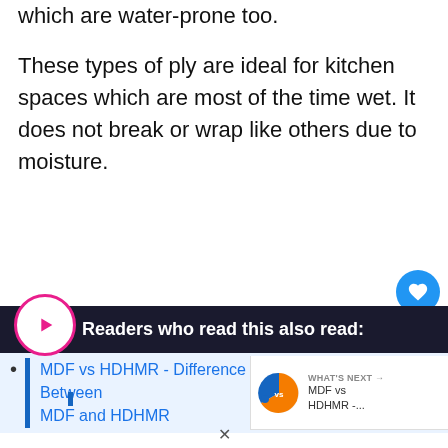which are water-prone too.
These types of ply are ideal for kitchen spaces which are most of the time wet. It does not break or wrap like others due to moisture.
[Figure (other): Readers who read this also read: section with play button, list item linking to 'MDF vs HDHMR - Difference Between MDF and HDHMR', and a What's Next panel with pie chart icon.]
MDF vs HDHMR - Difference Between MDF and HDHMR